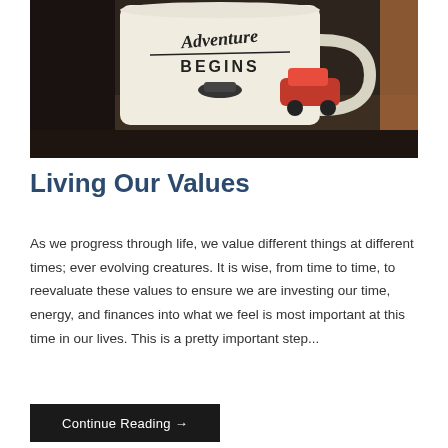[Figure (photo): A close-up photo of a white ceramic mug with 'Adventure BEGINS' text and a small car illustration, with a red toy car in the background on a dark surface.]
Living Our Values
As we progress through life, we value different things at different times; ever evolving creatures. It is wise, from time to time, to reevaluate these values to ensure we are investing our time, energy, and finances into what we feel is most important at this time in our lives. This is a pretty important step...
Continue Reading →